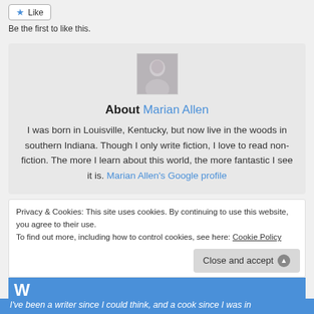Like
Be the first to like this.
[Figure (photo): Profile photo of Marian Allen, a woman with short hair, grayscale/faded image]
About Marian Allen
I was born in Louisville, Kentucky, but now live in the woods in southern Indiana. Though I only write fiction, I love to read non-fiction. The more I learn about this world, the more fantastic I see it is. Marian Allen's Google profile
Privacy & Cookies: This site uses cookies. By continuing to use this website, you agree to their use.
To find out more, including how to control cookies, see here: Cookie Policy
Close and accept
W
I've been a writer since I could think, and a cook since I was in